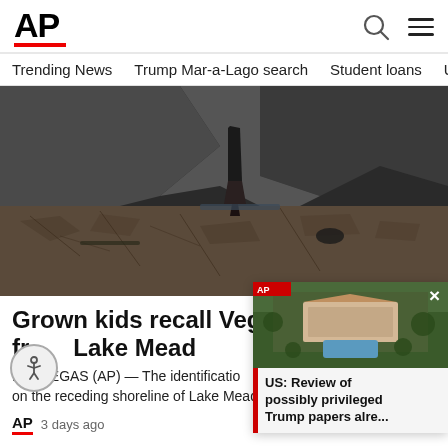[Figure (logo): AP logo in bold black with red underline bar]
Trending News   Trump Mar-a-Lago search   Student loans   U.S
[Figure (photo): Sunken boat upright in cracked dry lakebed of Lake Mead, dark rocky cliffs in background]
Grown kids recall Vegas dad fr... Lake Mead
LAS VEGAS (AP) — The identification on the receding shoreline of Lake Mead
[Figure (photo): Aerial view of Mar-a-Lago estate with red bar tag and close button, showing headline: US: Review of possibly privileged Trump papers alre...]
AP   3 days ago